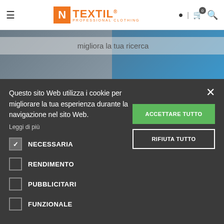N TEXTIL® PROFESSIONAL CLOTHING
migliora la tua ricerca
[Figure (screenshot): Two product/clothing images side by side: left shows a person in grey work clothing, right shows a person in blue sportswear]
Questo sito Web utilizza i cookie per migliorare la tua esperienza durante la navigazione nel sito Web.
Leggi di più
ACCETTARE TUTTO
RIFIUTA TUTTO
NECESSARIA
RENDIMENTO
PUBBLICITARI
FUNZIONALE